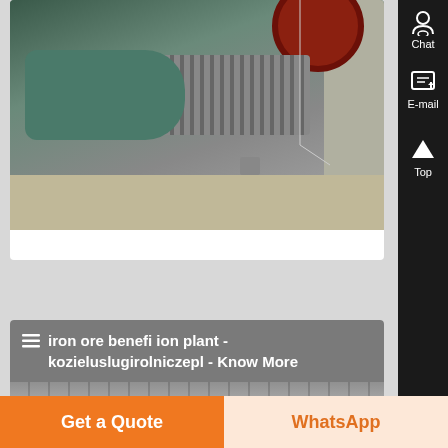[Figure (photo): Industrial photo of an electric motor or pump on a concrete platform, with a red wheel/flywheel visible at top, green/teal motor body, metal cooling fins, and concrete wall in background.]
≡ iron ore benefi ion plant - kozieluslugirolniczepl - Know More
[Figure (photo): Industrial interior photo showing a corrugated metal roof/ceiling structure of what appears to be a beneficiation plant.]
Get a Quote
WhatsApp